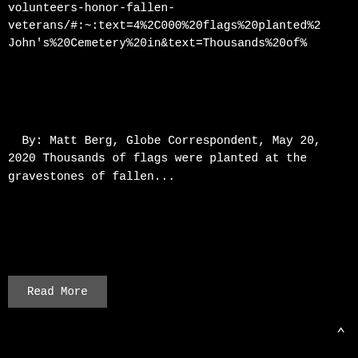volunteers-honor-fallen-veterans/#:~:text=4%2C000%20flags%20planted%2... John's%20Cemetery%20in&text=Thousands%20of%...
By: Matt Berg, Globe Correspondent, May 20, 2020 Thousands of flags were planted at the gravestones of fallen...
Read More
6,000 FLAGS PLACED TO HONOR VETERANS AT ST. JOHN'S